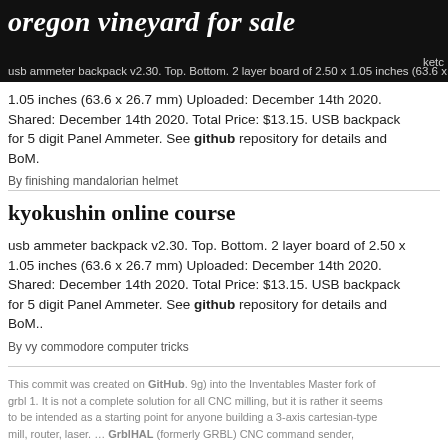oregon vineyard for sale
usb ammeter backpack v2.30. Top. Bottom. 2 layer board of 2.50 x 1.05 inches (63.6 x 26.7 mm) Uploaded: December 14th 2020. Shared: December 14th 2020. Total Price: $13.15. USB backpack for 5 digit Panel Ammeter. See github repository for details and BoM.
By finishing mandalorian helmet
kyokushin online course
usb ammeter backpack v2.30. Top. Bottom. 2 layer board of 2.50 x 1.05 inches (63.6 x 26.7 mm) Uploaded: December 14th 2020. Shared: December 14th 2020. Total Price: $13.15. USB backpack for 5 digit Panel Ammeter. See github repository for details and BoM..
By vy commodore computer tricks
This commit was created on GitHub. 9g) into the Inventables Master fork of grbl 1. It is not a complete solution for all CNC milling, but it is rather it seems to be intended as a starting point for anyone building a 3-axis cartesian-type mill, router, laser. … GrblHAL (formerly GRBL) CNC command sender,